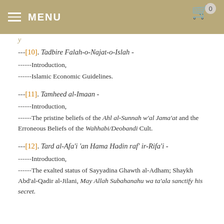MENU
---[10]. Tadbire Falah-o-Najat-o-Islah - ------Introduction, ------Islamic Economic Guidelines.
---[11]. Tamheed al-Imaan - ------Introduction, ------The pristine beliefs of the Ahl al-Sunnah w'al Jama'at and the Erroneous Beliefs of the Wahhabi/Deobandi Cult.
---[12]. Tard al-Afa'i 'an Hama Hadin raf' ir-Rifa'i - ------Introduction, ------The exalted status of Sayyadina Ghawth al-Adham; Shaykh Abd'al-Qadir al-Jilani, May Allah Subahanahu wa ta'ala sanctify his secret.